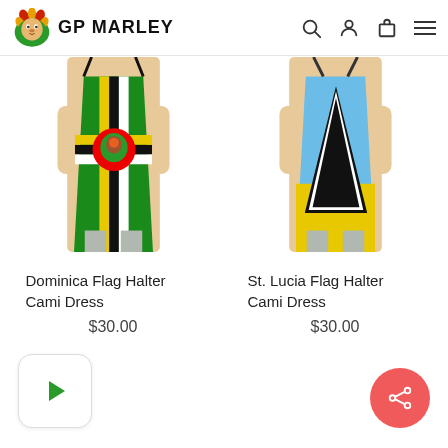GP Marley
[Figure (photo): Model wearing Dominica Flag Halter Cami Dress - green, black, white and yellow colors with parrot emblem]
Dominica Flag Halter Cami Dress
$30.00
[Figure (photo): Model wearing St. Lucia Flag Halter Cami Dress - blue, black, white and yellow colors with triangle design]
St. Lucia Flag Halter Cami Dress
$30.00